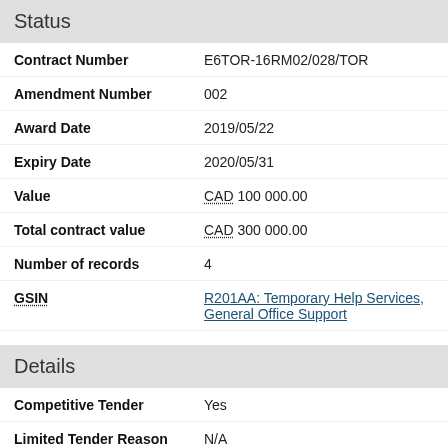Status
| Field | Value |
| --- | --- |
| Contract Number | E6TOR-16RM02/028/TOR |
| Amendment Number | 002 |
| Award Date | 2019/05/22 |
| Expiry Date | 2020/05/31 |
| Value | CAD 100 000.00 |
| Total contract value | CAD 300 000.00 |
| Number of records | 4 |
| GSIN | R201AA: Temporary Help Services, General Office Support |
Details
| Field | Value |
| --- | --- |
| Competitive Tender | Yes |
| Limited Tender Reason | N/A |
| Solicitation Procedure | Open Bidding |
| Trade Agreement | Canadian Free Trade Agreement (CFTA) |